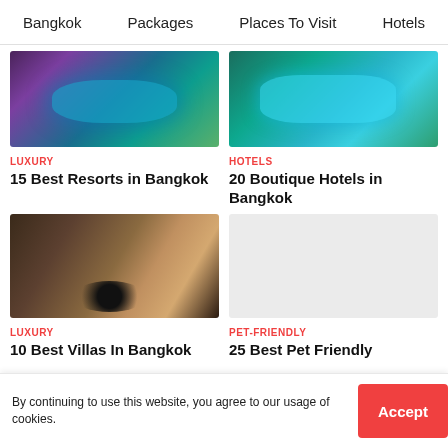Bangkok   Packages   Places To Visit   Hotels
[Figure (photo): Aerial view of a resort pool with tropical landscaping at night, purple and teal lighting]
[Figure (photo): Aerial view of a boutique hotel pool with sun loungers and lush green trees]
LUXURY
15 Best Resorts in Bangkok
HOTELS
20 Boutique Hotels in Bangkok
[Figure (photo): Stylish hotel room interior with four-poster bed, freestanding bathtub, hexagonal wall decor and circular rug]
[Figure (photo): Grey placeholder image for pet-friendly hotel content]
LUXURY
10 Best Villas In Bangkok
PET-FRIENDLY
25 Best Pet Friendly
By continuing to use this website, you agree to our usage of cookies.